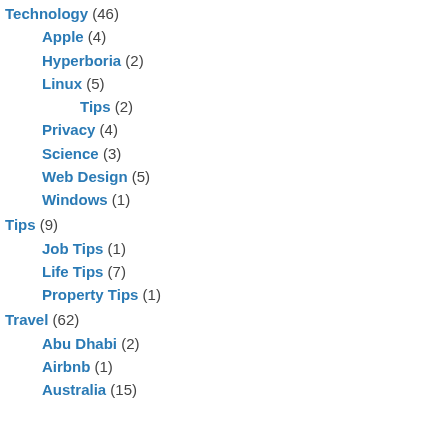Technology (46)
Apple (4)
Hyperboria (2)
Linux (5)
Tips (2)
Privacy (4)
Science (3)
Web Design (5)
Windows (1)
Tips (9)
Job Tips (1)
Life Tips (7)
Property Tips (1)
Travel (62)
Abu Dhabi (2)
Airbnb (1)
Australia (15)